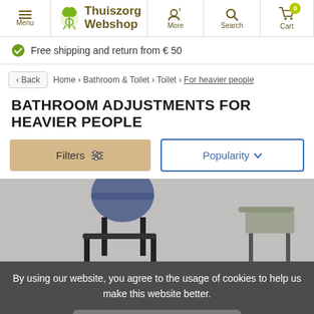Menu | Thuiszorg Webshop | More | Search | Cart 0
Free shipping and return from € 50
< Back  Home › Bathroom & Toilet › Toilet › For heavier people
BATHROOM ADJUSTMENTS FOR HEAVIER PEOPLE
Filters  |  Popularity
[Figure (photo): Partial view of bathroom chairs/toilet aids for heavier people, partially obscured by cookie consent overlay]
By using our website, you agree to the usage of cookies to help us make this website better.
Hide this message
More on cookies »